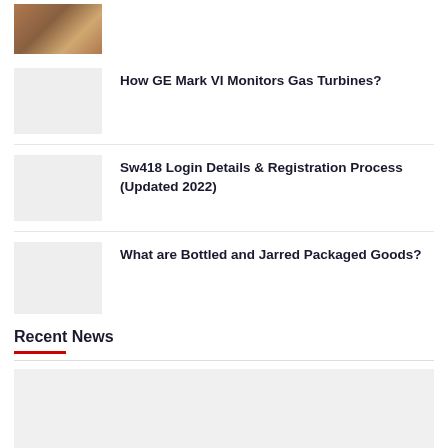[Figure (photo): Photo of group of people (partially visible at top)]
[Figure (photo): Gray placeholder image thumbnail]
How GE Mark VI Monitors Gas Turbines?
[Figure (photo): Gray placeholder image thumbnail]
Sw418 Login Details & Registration Process (Updated 2022)
[Figure (photo): Gray placeholder image thumbnail]
What are Bottled and Jarred Packaged Goods?
Recent News
[Figure (photo): Large gray placeholder image at bottom]